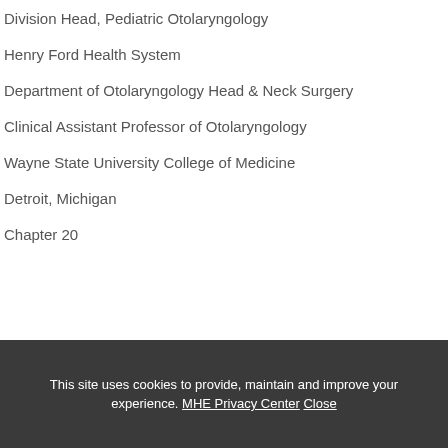Division Head, Pediatric Otolaryngology
Henry Ford Health System
Department of Otolaryngology Head & Neck Surgery
Clinical Assistant Professor of Otolaryngology
Wayne State University College of Medicine
Detroit, Michigan
Chapter 20
This site uses cookies to provide, maintain and improve your experience. MHE Privacy Center Close